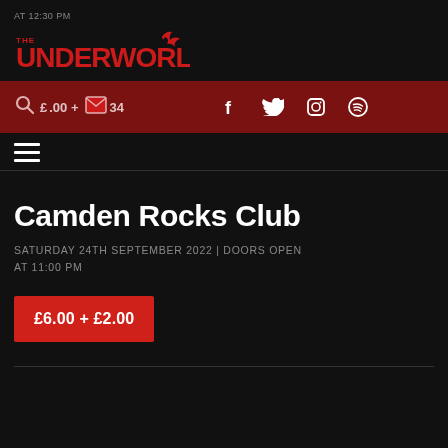AT 12:30 PM
[Figure (logo): The Underworld logo in red stylized text with a bird/bat graphic]
£6.00 + £2.00 34 (search and mail icons with social icons: Facebook, Twitter, Instagram, Spotify)
≡ (hamburger menu icon)
Camden Rocks Club
SATURDAY 24TH SEPTEMBER 2022 | DOORS OPEN AT 11:00 PM
£6.00 + £2.00